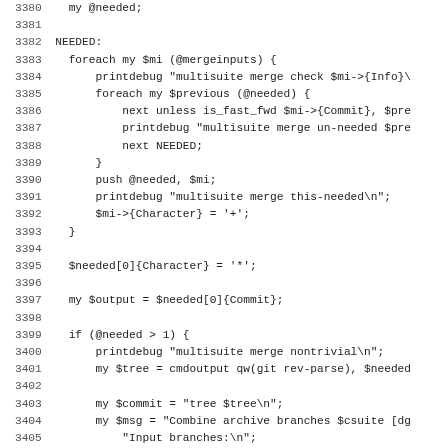Source code listing, lines 3380-3411+
| line | code |
| --- | --- |
| 3380 |     my @needed; |
| 3381 |  |
| 3382 |   NEEDED: |
| 3383 |     foreach my $mi (@mergeinputs) { |
| 3384 |         printdebug "multisuite merge check $mi->{Info}\ |
| 3385 |         foreach my $previous (@needed) { |
| 3386 |             next unless is_fast_fwd $mi->{Commit}, $pre |
| 3387 |             printdebug "multisuite merge un-needed $pre |
| 3388 |             next NEEDED; |
| 3389 |         } |
| 3390 |         push @needed, $mi; |
| 3391 |         printdebug "multisuite merge this-needed\n"; |
| 3392 |         $mi->{Character} = '+'; |
| 3393 |     } |
| 3394 |  |
| 3395 |     $needed[0]{Character} = '*'; |
| 3396 |  |
| 3397 |     my $output = $needed[0]{Commit}; |
| 3398 |  |
| 3399 |     if (@needed > 1) { |
| 3400 |         printdebug "multisuite merge nontrivial\n"; |
| 3401 |         my $tree = cmdoutput qw(git rev-parse), $needed |
| 3402 |  |
| 3403 |         my $commit = "tree $tree\n"; |
| 3404 |         my $msg = "Combine archive branches $csuite [dg |
| 3405 |             "Input branches:\n"; |
| 3406 |  |
| 3407 |         foreach my $mi (sort { $a->{Index} <=> $b->{Ind |
| 3408 |             printdebug "multisuite merge include $mi->{ |
| 3409 |             $mi->{Character} //= ' '; |
| 3410 |             $commit .= "parent $mi->{Commit}\n"; |
| 3411 |             $msg .= sprintf " %s  %-25s %s\n", |